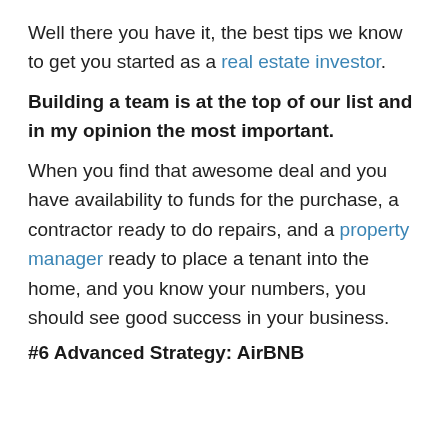Well there you have it, the best tips we know to get you started as a real estate investor.
Building a team is at the top of our list and in my opinion the most important.
When you find that awesome deal and you have availability to funds for the purchase, a contractor ready to do repairs, and a property manager ready to place a tenant into the home, and you know your numbers, you should see good success in your business.
#6 Advanced Strategy: AirBNB